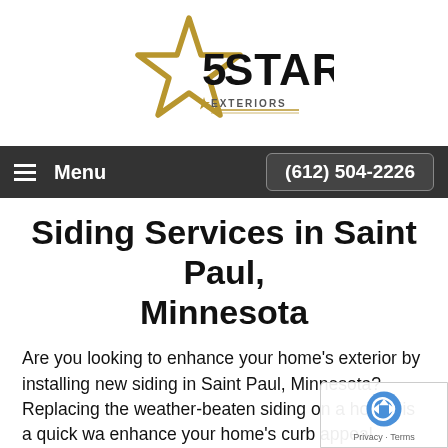[Figure (logo): 5 Star Exteriors logo: gold star outline with '5STAR' text in large bold black letters and 'EXTERIORS' in smaller text with decorative lines]
Menu  (612) 504-2226
Siding Services in Saint Paul, Minnesota
Are you looking to enhance your home's exterior by installing new siding in Saint Paul, Minnesota? Replacing the weather-beaten siding on a house is a quick wa enhance your home's curb appeal. There is a multit color and style options when it comes to modern siding choices for the home. The 5 Star Exteriors A